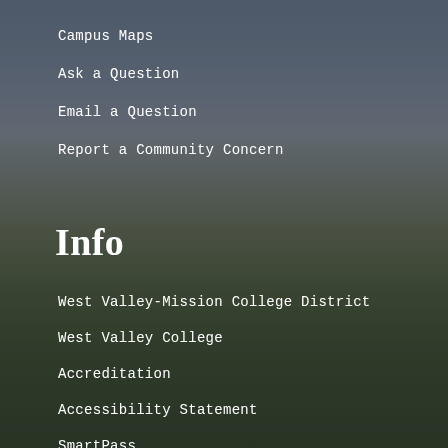Campus Maps
Ask a Question
Email a Question
Report a Community Concern
Info
West Valley-Mission College District
West Valley College
Accreditation
Accessibility Statement
SmartPass
Employment
Donate